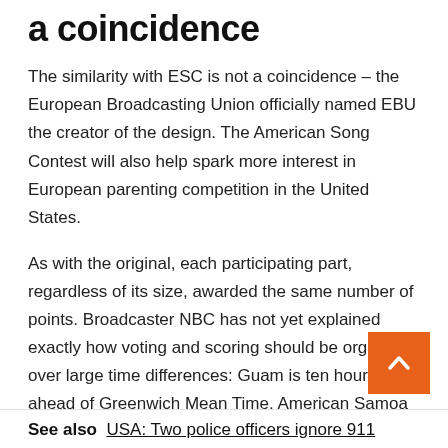a coincidence
The similarity with ESC is not a coincidence – the European Broadcasting Union officially named EBU the creator of the design. The American Song Contest will also help spark more interest in European parenting competition in the United States.
As with the original, each participating part, regardless of its size, awarded the same number of points. Broadcaster NBC has not yet explained exactly how voting and scoring should be organized over large time differences: Guam is ten hours ahead of Greenwich Mean Time, American Samoa is eleven hours behind – and the four-time US Territory already covers the mainland from Maine to California.
See also  USA: Two police officers ignore 911